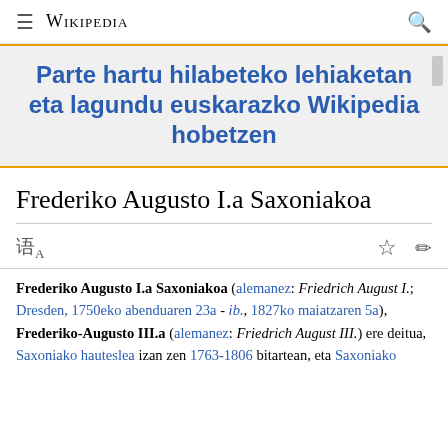≡ WIKIPEDIA 🔍
Parte hartu hilabeteko lehiaketan eta lagundu euskarazko Wikipedia hobetzen
Frederiko Augusto I.a Saxoniakoa
Frederiko Augusto I.a Saxoniakoa (alemanez: Friedrich August I.; Dresden, 1750eko abenduaren 23a - ib., 1827ko maiatzaren 5a), Frederiko-Augusto III.a (alemanez: Friedrich August III.) ere deitua, Saxoniako hauteslea izan zen 1763-1806 bitartean, eta Saxoniako